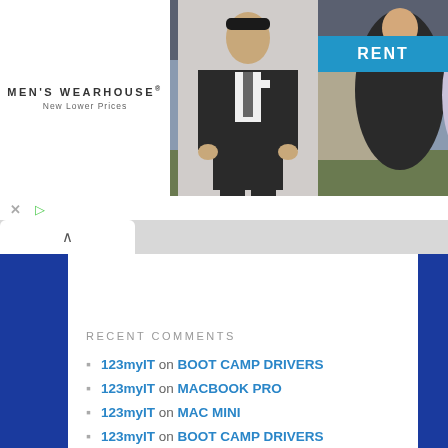[Figure (photo): Men's Wearhouse advertisement banner with couple in formal wear and a man in suit, with RENT button]
RECENT COMMENTS
123myIT on BOOT CAMP DRIVERS
123myIT on MACBOOK PRO
123myIT on MAC MINI
123myIT on BOOT CAMP DRIVERS
williams on MACBOOK PRO